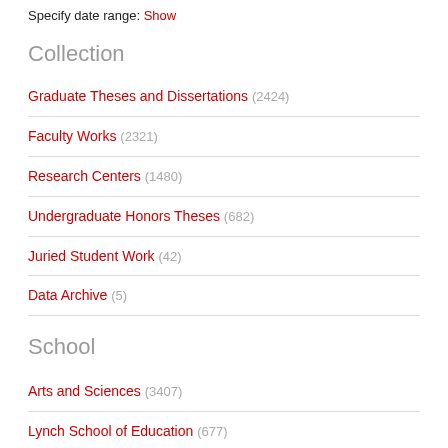Specify date range: Show
Collection
Graduate Theses and Dissertations (2424)
Faculty Works (2321)
Research Centers (1480)
Undergraduate Honors Theses (682)
Juried Student Work (42)
Data Archive (5)
School
Arts and Sciences (3407)
Lynch School of Education (677)
Carroll School of Management (648)
School of Theology and Ministry (227)
School of Social Work (152)
Connell School of Nursing (92)
Faculty